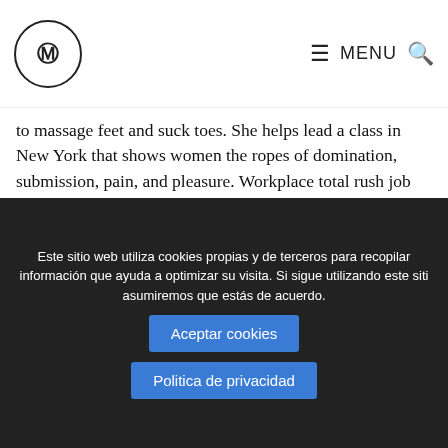MH [logo] MENU [search]
to massage feet and suck toes. She helps lead a class in New York that shows women the ropes of domination, submission, pain, and pleasure. Workplace total rush job and a time terrible. He is completely resistant. I'm sure you'll find someone who loves it, there are more of us around than you think!! I'm fuckin sick. Videos, watch on cam two girls.
Connect. Discover. Share.
She begins her morning easy, taking a swim and laying out for a tan by the pool at her home in Delray Beach. About an hour after arriving, Aurora is approached by an
Este sitio web utiliza cookies propias y de terceros para recopilar información que ayuda a optimizar su visita. Si sigue utilizando este sitio asumiremos que estás de acuerdo.
Aceptar cookies
Politica de privacidad